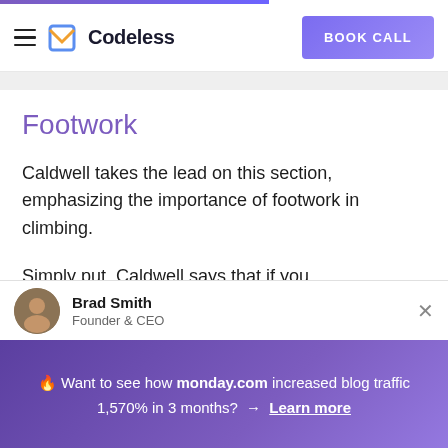Codeless | BOOK CALL
Footwork
Caldwell takes the lead on this section, emphasizing the importance of footwork in climbing.
Simply put, Caldwell says that if you
Brad Smith
Founder & CEO
🔥 Want to see how monday.com increased blog traffic 1,570% in 3 months? → Learn more